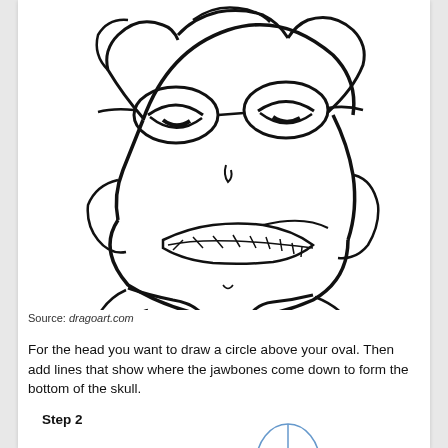[Figure (illustration): Anime-style character face with glasses, spiky hair, and a wide toothy grin, drawn in black line art on white background. Source from dragoart.com.]
Source: dragoart.com
For the head you want to draw a circle above your oval. Then add lines that show where the jawbones come down to form the bottom of the skull.
Step 2
[Figure (illustration): Blue line drawing of an oval head shape with cross-hair guide lines showing facial proportions, and a vertical line extending downward for the neck/body.]